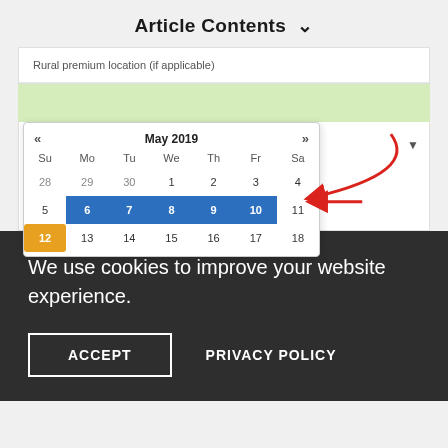Article Contents ∨
Rural premium location (if applicable)
[Figure (screenshot): A date picker calendar popup showing May 2019. Days 6-10 are highlighted in blue (selected range), day 12 is highlighted in orange/gold (today). A red arrow annotation points to day 11. Another red arrow curves down toward the calendar from above right.]
We use cookies to improve your website experience.
ACCEPT
PRIVACY POLICY